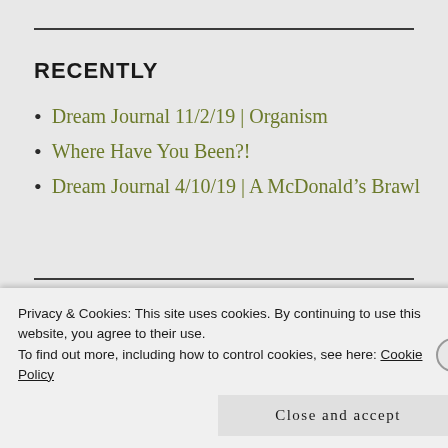RECENTLY
Dream Journal 11/2/19 | Organism
Where Have You Been?!
Dream Journal 4/10/19 | A McDonald’s Brawl
Privacy & Cookies: This site uses cookies. By continuing to use this website, you agree to their use.
To find out more, including how to control cookies, see here: Cookie Policy
Close and accept